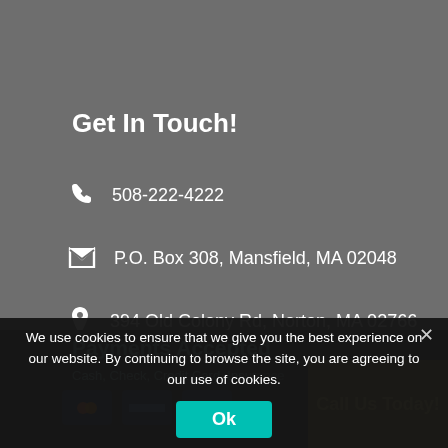Get In Touch!
508-222-4222
P.O. Box 308, Mansfield, MA 02048
394 Old Colony Rd, Norton, MA 02766
info@comm-clean.com
Payments Accepted
Cash, Check, Credit Card, Insurance
We use cookies to ensure that we give you the best experience on our website. By continuing to browse the site, you are agreeing to our use of cookies.
Ok
Call Us Today!